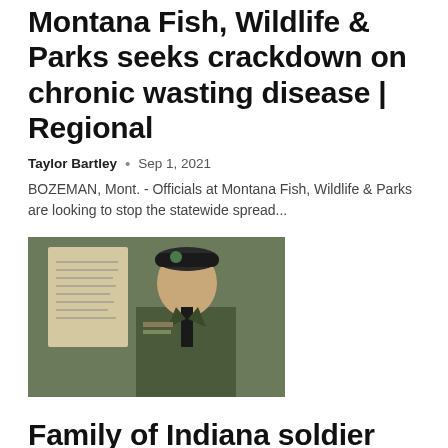Montana Fish, Wildlife & Parks seeks crackdown on chronic wasting disease | Regional
Taylor Bartley  •  Sep 1, 2021
BOZEMAN, Mont. - Officials at Montana Fish, Wildlife & Parks are looking to stop the statewide spread...
[Figure (photo): A soldier in green military dress uniform wearing a black beret, standing in front of a wall with a handwritten note. The soldier appears to be a U.S. Army Special Forces soldier.]
Family of Indiana soldier killed in Afghanistan react to Taliban rule